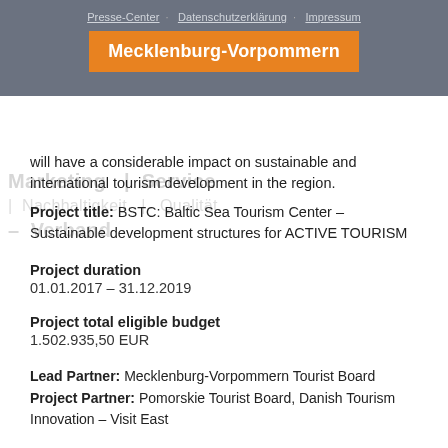Presse-Center · Datenschutzerklärung · Impressum
Mecklenburg-Vorpommern
will have a considerable impact on sustainable and international tourism development in the region.
Project title: BSTC: Baltic Sea Tourism Center – Sustainable development structures for ACTIVE TOURISM
Project duration
01.01.2017 – 31.12.2019
Project total eligible budget
1.502.935,50 EUR
Lead Partner: Mecklenburg-Vorpommern Tourist Board
Project Partner: Pomorskie Tourist Board, Danish Tourism Innovation – Visit East